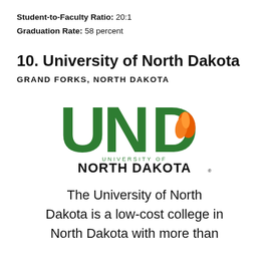Student-to-Faculty Ratio: 20:1
Graduation Rate: 58 percent
10. University of North Dakota
GRAND FORKS, NORTH DAKOTA
[Figure (logo): UND University of North Dakota logo — large green letters UND with an orange flame inside the D, and full name 'UNIVERSITY OF NORTH DAKOTA' below in green and black.]
The University of North Dakota is a low-cost college in North Dakota with more than